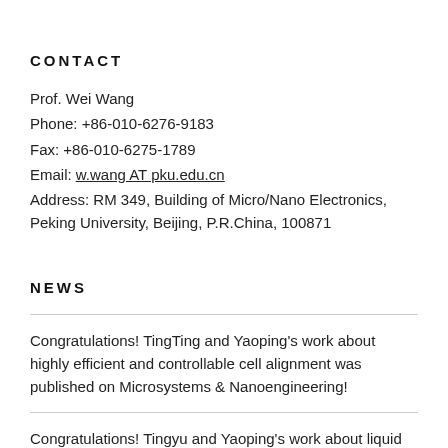CONTACT
Prof. Wei Wang
Phone: +86-010-6276-9183
Fax: +86-010-6275-1789
Email: w.wang AT pku.edu.cn
Address: RM 349, Building of Micro/Nano Electronics, Peking University, Beijing, P.R.China, 100871
NEWS
Congratulations! TingTing and Yaoping's work about highly efficient and controllable cell alignment was published on Microsystems & Nanoengineering!
Congratulations! Tingyu and Yaoping's work about liquid